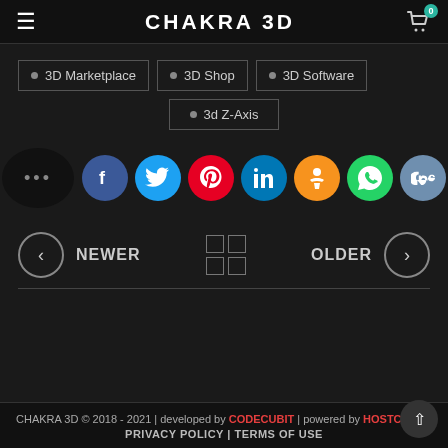CHAKRA 3D
3D Marketplace
3D Shop
3D Software
3d Z-Axis
[Figure (infographic): Social media share buttons: Facebook, Twitter, Pinterest, LinkedIn, Odnoklassniki, WhatsApp, VKontakte, Telegram]
NEWER   OLDER
CHAKRA 3D © 2018 - 2021 | developed by CODECUBIT | powered by HOSTC... | PRIVACY POLICY | TERMS OF USE